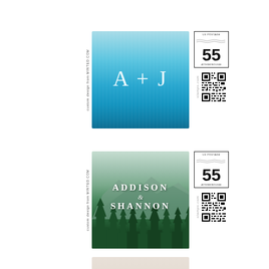[Figure (illustration): Custom postage stamp with teal/blue watercolor sky background and white initials 'A + J', with US postage 55 cents, custom design from MINTED.COM, stamps.com QR code]
[Figure (illustration): Custom postage stamp with green forest/mountain scene, white text reading ADDISON & SHANNON, with US postage 55 cents, custom design from MINTED.COM, stamps.com QR code]
[Figure (illustration): Partially visible third postage stamp at bottom of page]